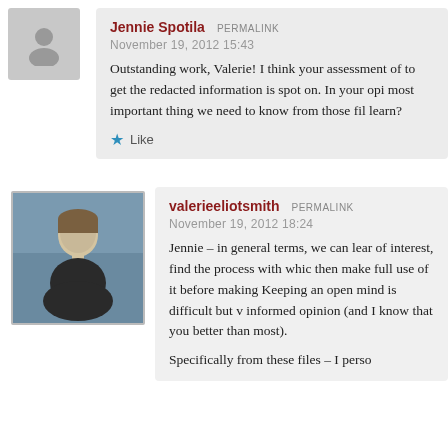Jennie Spotila  PERMALINK
November 19, 2012 15:43
Outstanding work, Valerie! I think your assessment of to get the redacted information is spot on. In your opi most important thing we need to know from those fil learn?
★ Like
valerieeliotsmith  PERMALINK
November 19, 2012 18:24
Jennie – in general terms, we can lear of interest, find the process with whic then make full use of it before making Keeping an open mind is difficult but v informed opinion (and I know that you better than most).
Specifically from these files – I perso